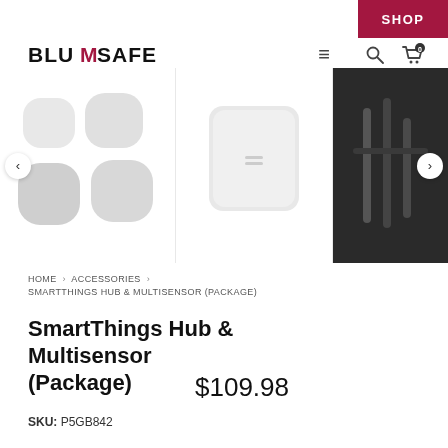SHOP
[Figure (logo): BluMSafe logo in bold black text with red checkmark accent]
[Figure (photo): Product image carousel showing SmartThings multisensors (small round white devices), a SmartThings Hub (white square device), and a dark accessory photo with navigation arrows]
HOME > ACCESSORIES > SMARTTHINGS HUB & MULTISENSOR (PACKAGE)
SmartThings Hub & Multisensor (Package)
$109.98
SKU: P5GB842